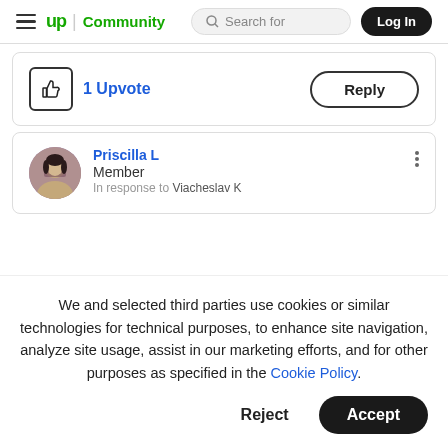up Community | Search for | Log In
1 Upvote  Reply
Priscilla L
Member
In response to Viacheslav K
We and selected third parties use cookies or similar technologies for technical purposes, to enhance site navigation, analyze site usage, assist in our marketing efforts, and for other purposes as specified in the Cookie Policy.
Accept
Reject